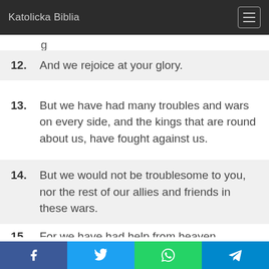Katolicka Biblia
g
12. And we rejoice at your glory.
13. But we have had many troubles and wars on every side, and the kings that are round about us, have fought against us.
14. But we would not be troublesome to you, nor the rest of our allies and friends in these wars.
15. For we have had help from heaven...